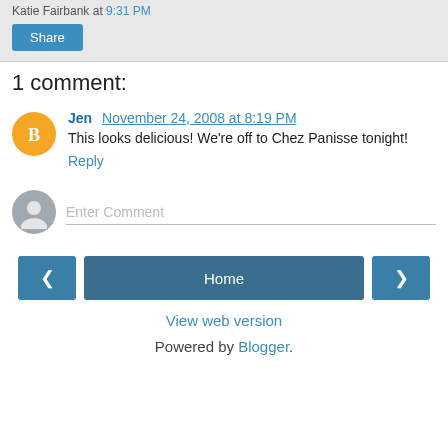Katie Fairbank at 9:31 PM
Share
1 comment:
Jen  November 24, 2008 at 8:19 PM
This looks delicious! We're off to Chez Panisse tonight!
Reply
Enter Comment
Home
View web version
Powered by Blogger.